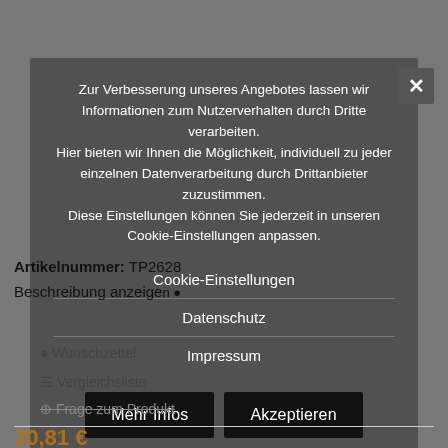Artikelnummer: TP2628
Beschreibung anzeigen
Wunschzettel
Vergleichsliste
Frage zum Produkt
20,81 €
exkl. 19% USt., zzgl. Versand
Zur Verbesserung unseres Angebotes lassen wir Informationen zum Nutzerverhalten durch Dritte verarbeiten.
Hier bieten wir Ihnen die Möglichkeit, individuell zu jeder einzelnen Datenverarbeitung durch Drittanbieter zuzustimmen.
Diese Einstellungen können Sie jederzeit in unseren Cookie-Einstellungen anpassen.
Cookie-Einstellungen
Datenschutz
Impressum
Mehr Infos
Akzeptieren